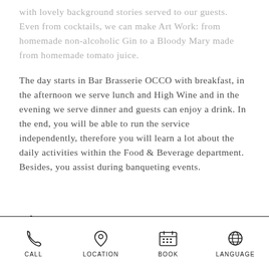with lovely background stories served to our guests. Even from cocktails, we can make Art Work: from homemade non-alcoholic Gin to a Bloody Mary made from homemade tomato juice.
The day starts in Bar Brasserie OCCO with breakfast, in the afternoon we serve lunch and High Wine and in the evening we serve dinner and guests can enjoy a drink. In the end, you will be able to run the service independently, therefore you will learn a lot about the daily activities within the Food & Beverage department. Besides, you assist during banqueting events.
Who are you?
CALL | LOCATION | BOOK | LANGUAGE